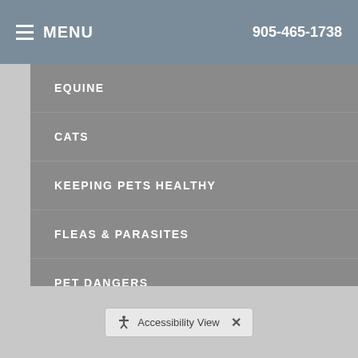MENU  905-465-1738
EQUINE
CATS
KEEPING PETS HEALTHY
FLEAS & PARASITES
PET DANGERS
BEHAVIOR & TRAINING
NEWSLETTER ARCHIVE +
Accessibility View ×